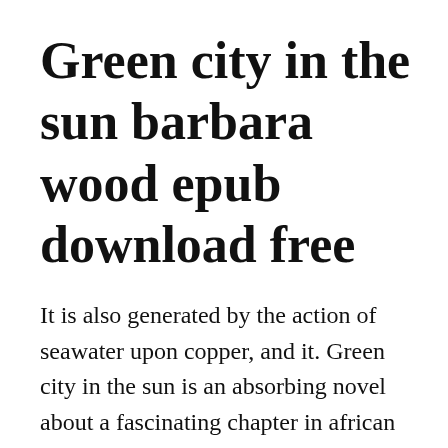Green city in the sun barbara wood epub download free
It is also generated by the action of seawater upon copper, and it. Green city in the sun is an absorbing novel about a fascinating chapter in african history. Simple ways to go green pdf, epub, docx and torrent then this site is not for